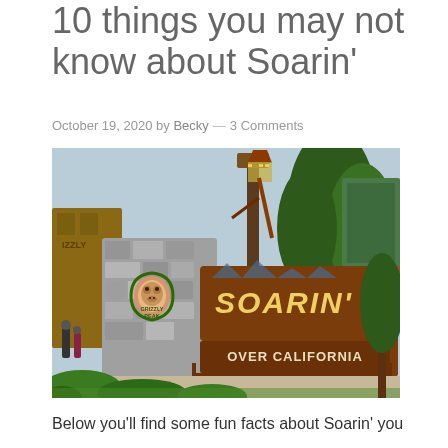10 things you may not know about Soarin'
October 19, 2020 by Becky — 3 Comments
[Figure (photo): Photo of the Soarin' Over California attraction sign at Disney California Adventure, featuring a stone pillar with Grizzly Peak bear logo, the large wooden SOARIN' sign with 'Over California' text below, surrounded by pine trees and themed buildings.]
Below you'll find some fun facts about Soarin' you